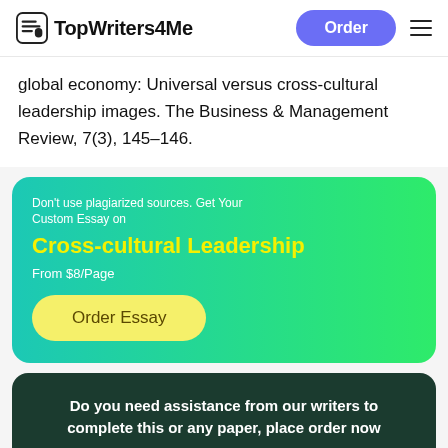TopWriters4Me | Order
global economy: Universal versus cross-cultural leadership images. The Business & Management Review, 7(3), 145–146.
[Figure (infographic): Green gradient promotional card with text: Don't use plagiarized sources. Get Your Custom Essay on Cross-cultural Leadership From $8/Page with a yellow Order Essay button]
Do you need assistance from our writers to complete this or any paper, place order now